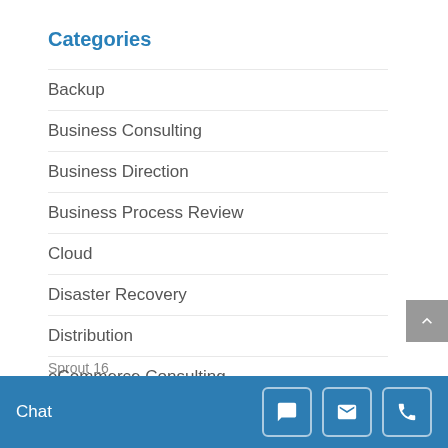Categories
Backup
Business Consulting
Business Direction
Business Process Review
Cloud
Disaster Recovery
Distribution
eCommerce Consulting
EDI
Chat